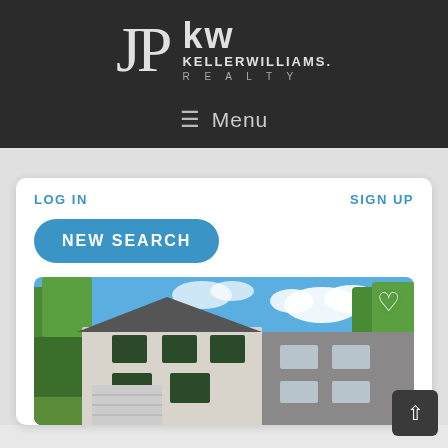[Figure (logo): JP Keller Williams Realty logo on dark background]
≡  Menu
LOG IN
SIGN UP
NEW SEARCH
[Figure (photo): Exterior photo of a modern two-story house with white and gray siding, large windows, blue sky with clouds, and trees in background. White heart icon in upper right corner.]